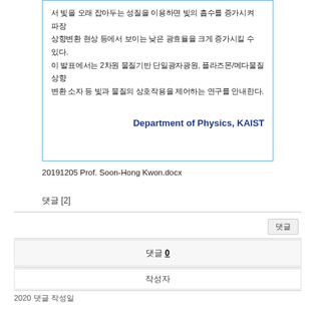서 빛을 오래 잡아두는 성질을 이용하면 빛의 흡수를 증가시켜 파장 상향변환 현상 등에서 보이는 낮은 광효율을 크게 증가시킬 수 있다. 이 발표에서는 2차원 물질기반 단일광자광원, 플라즈몬/메타물질 상향변환 소자 등 빛과 물질의 상호작용을 제어하는 연구를 안내한다.
Department of Physics, KAIST
20191205 Prof. Soon-Hong Kwon.docx
댓글 [2]
댓글
댓글 수 0
작성자
2020 댓글 작성일